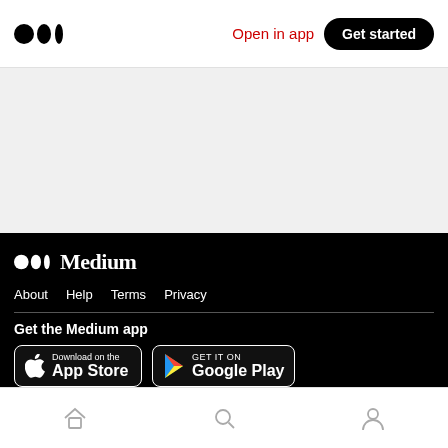Medium logo | Open in app | Get started
[Figure (logo): Medium logo wordmark in black footer area with white text]
About  Help  Terms  Privacy
Get the Medium app
[Figure (screenshot): Download on the App Store badge]
[Figure (screenshot): GET IT ON Google Play badge]
Bottom navigation bar with home, search, and profile icons